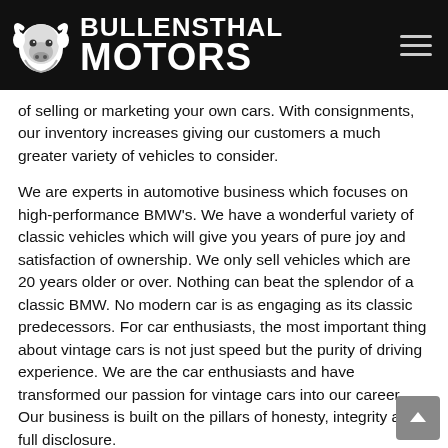BULLENSTHAL MOTORS
of selling or marketing your own cars. With consignments, our inventory increases giving our customers a much greater variety of vehicles to consider.
We are experts in automotive business which focuses on high-performance BMW's. We have a wonderful variety of classic vehicles which will give you years of pure joy and satisfaction of ownership. We only sell vehicles which are 20 years older or over. Nothing can beat the splendor of a classic BMW. No modern car is as engaging as its classic predecessors. For car enthusiasts, the most important thing about vintage cars is not just speed but the purity of driving experience. We are the car enthusiasts and have transformed our passion for vintage cars into our career. Our business is built on the pillars of honesty, integrity and full disclosure.